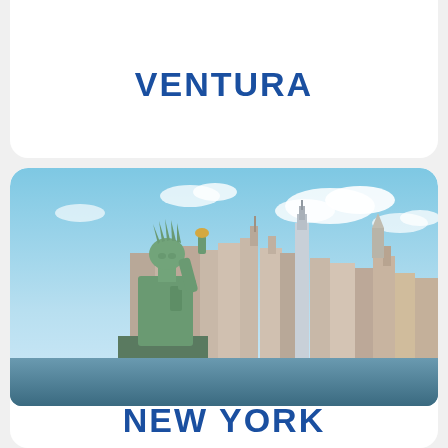[Figure (photo): Partial view of a cruise ship at top of page (cropped)]
VENTURA
[Figure (photo): Statue of Liberty in foreground with New York City skyline in background, blue sky with clouds]
NEW YORK